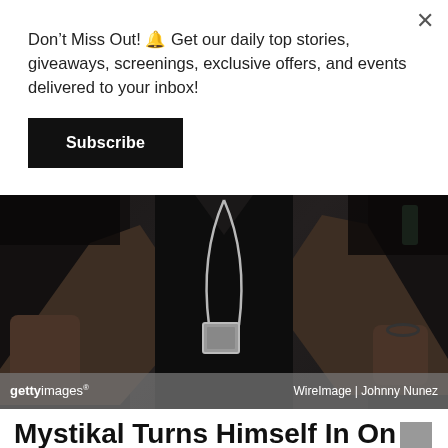Don't Miss Out! 🔔 Get our daily top stories, giveaways, screenings, exclusive offers, and events delivered to your inbox!
Subscribe
[Figure (photo): A person wearing a black v-neck t-shirt with a silver chain necklace and pendant, arms outstretched, photographed from the torso down against a dark background. Getty Images watermark visible with credit WireImage | Johnny Nunez.]
WireImage | Johnny Nunez
Mystikal Turns Himself In On